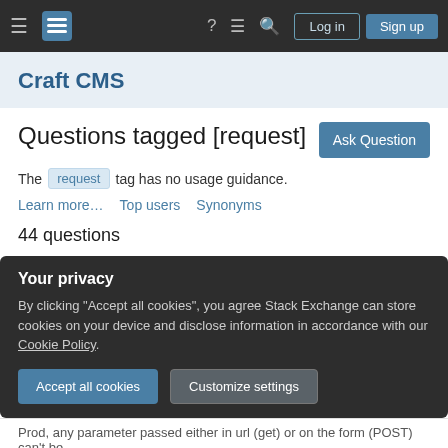Stack Exchange navigation bar with Log in and Sign up buttons
Craft CMS
Questions tagged [request]
The request tag has no usage guidance.
Learn more…   Top users   Synonyms
44 questions
Your privacy
By clicking "Accept all cookies", you agree Stack Exchange can store cookies on your device and disclose information in accordance with our Cookie Policy.
Accept all cookies   Customize settings
Prod, any parameter passed either in url (get) or on the form (POST) can't be…